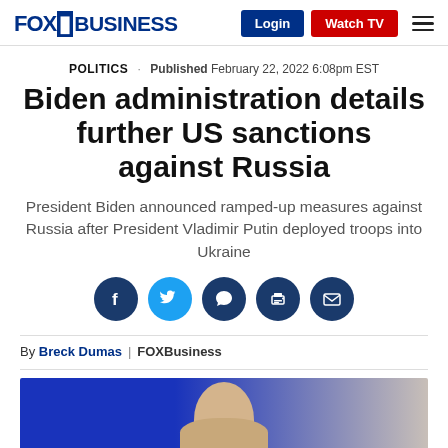FOX BUSINESS | Login | Watch TV
POLITICS · Published February 22, 2022 6:08pm EST
Biden administration details further US sanctions against Russia
President Biden announced ramped-up measures against Russia after President Vladimir Putin deployed troops into Ukraine
[Figure (other): Social sharing icons: Facebook, Twitter, Comments, Print, Email]
By Breck Dumas | FOXBusiness
[Figure (photo): Photo of a person, partially visible, with blue background on left and beige/grey on right — appears to be a political figure.]